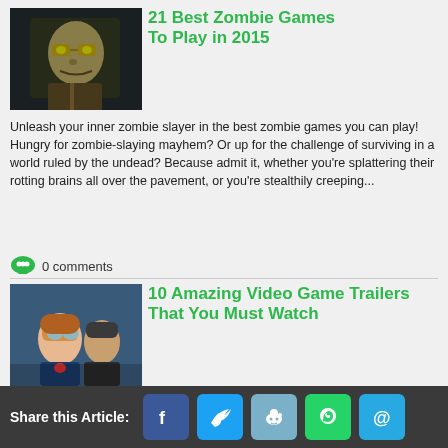21 Best Zombie Games To Play in 2015
[Figure (illustration): Dark-toned illustration of a zombie character with glasses and a suit]
Unleash your inner zombie slayer in the best zombie games you can play! Hungry for zombie-slaying mayhem? Or up for the challenge of surviving in a world ruled by the undead? Because admit it, whether you're splattering their rotting brains all over the pavement, or you're stealthily creeping...
0 comments
10 Amazing Video Game Trailers That You Must Watch
[Figure (illustration): Animated video game characters including a female with goggles in foreground]
Great video game trailers - they're like bite-sized artistic masterpieces you can't get enough of! Though its primary purpose is to sell the game it's showcasing, the video game trailer has become an art form in and of itself. No matter how the game turns out, a good trailer is a good...
0 comments
Share this Article: Facebook Twitter Reddit WhatsApp Email